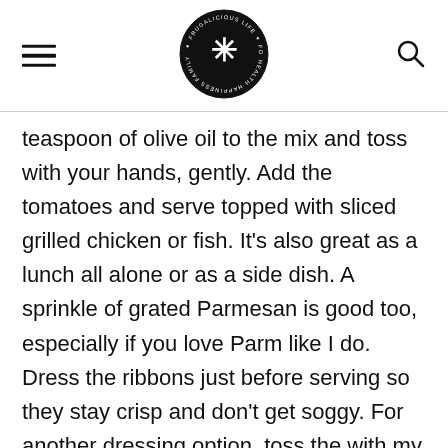[Precious Life logo] [hamburger menu] [search icon]
teaspoon of olive oil to the mix and toss with your hands, gently. Add the tomatoes and serve topped with sliced grilled chicken or fish. It's also great as a lunch all alone or as a side dish. A sprinkle of grated Parmesan is good too, especially if you love Parm like I do. Dress the ribbons just before serving so they stay crisp and don't get soggy. For another dressing option, toss the with my Asian Almond Sauce.